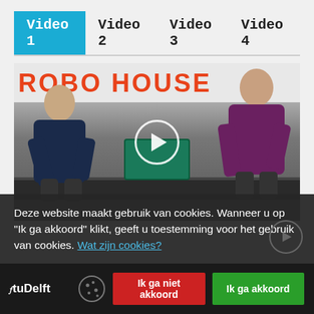Video 1  Video 2  Video 3  Video 4
[Figure (screenshot): Video thumbnail showing two people working at a table in front of a 'ROBO HOUSE' sign, with a play button overlay in the center.]
Deze website maakt gebruik van cookies. Wanneer u op "Ik ga akkoord" klikt, geeft u toestemming voor het gebruik van cookies. Wat zijn cookies?
TUDelft  |  Ik ga niet akkoord  |  Ik ga akkoord